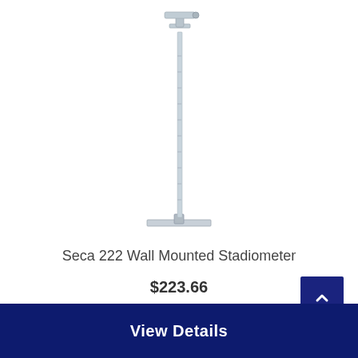[Figure (photo): Seca 222 Wall Mounted Stadiometer product image — a tall vertical measuring rod with a headpiece at the top and a flat base at the bottom]
Seca 222 Wall Mounted Stadiometer
$223.66
View Details